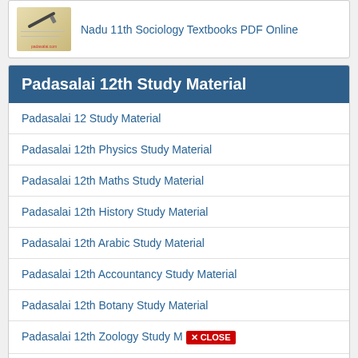Nadu 11th Sociology Textbooks PDF Online
Padasalai 12th Study Material
Padasalai 12 Study Material
Padasalai 12th Physics Study Material
Padasalai 12th Maths Study Material
Padasalai 12th History Study Material
Padasalai 12th Arabic Study Material
Padasalai 12th Accountancy Study Material
Padasalai 12th Botany Study Material
Padasalai 12th Zoology Study Material [CLOSE]
Padasalai 12th Computer Science Study Material
Padasalai 12th Computer Application Study Material
Padasalai 12th Sociology Study Material